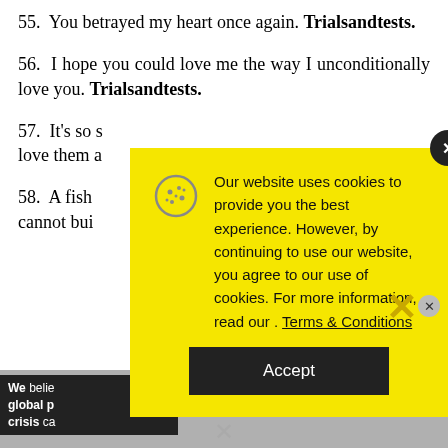55. You betrayed my heart once again. Trialsandtests.
56. I hope you could love me the way I unconditionally love you. Trialsandtests.
57. It's so s[…] love them a[…]
58. A fish […] cannot bui[…]
[Figure (screenshot): Cookie consent popup overlay on yellow background with cookie icon, text about website cookies policy, Terms & Conditions link, and Accept button. Also shows a media error overlay 'No compatible source was found for this media.' and a close X button.]
We belie[ve in] global p[o]licy crisis ca[n be solved]